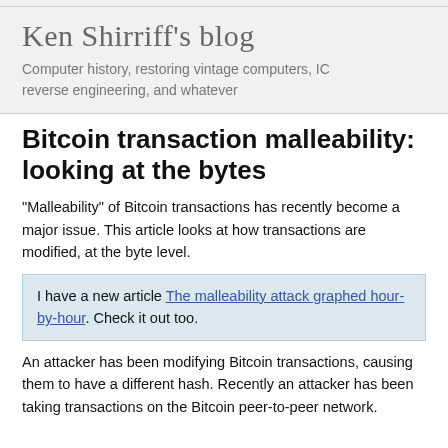Ken Shirriff's blog
Computer history, restoring vintage computers, IC reverse engineering, and whatever
Bitcoin transaction malleability: looking at the bytes
"Malleability" of Bitcoin transactions has recently become a major issue. This article looks at how transactions are modified, at the byte level.
I have a new article The malleability attack graphed hour-by-hour. Check it out too.
An attacker has been modifying Bitcoin transactions, causing them to have a different hash. Recently an attacker has been taking transactions on the Bitcoin peer-to-peer network.